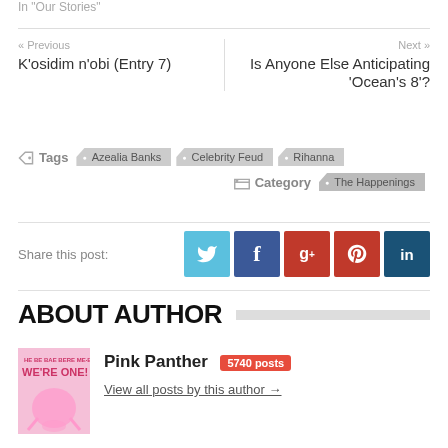In "Our Stories"
« Previous
K'osidim n'obi (Entry 7)
Next »
Is Anyone Else Anticipating 'Ocean's 8'?
Tags  Azealia Banks  Celebrity Feud  Rihanna
Category  The Happenings
Share this post:
ABOUT AUTHOR
Pink Panther  5740 posts
View all posts by this author →